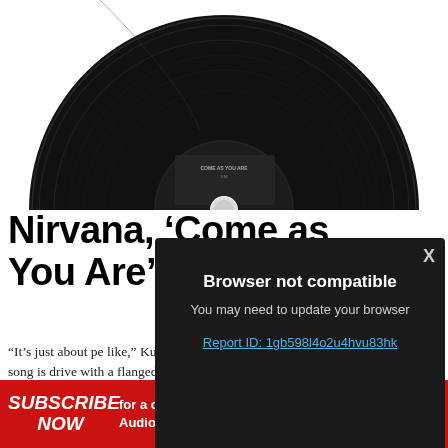[Figure (photo): A black vinyl 45 RPM record, partially cropped, showing the top half. The record label reads 'COME AS YOU ARE' in the center area.]
Nirvana, 'Come as You Are'
“It’s just about pe like,” Kurt Cobai contradictory. The The song is drive with a flanged, su apparently lifted band Killing Jok
[Figure (screenshot): Browser not compatible overlay popup on dark background with text: 'Browser not compatible', 'You may need to update your browser', and a link 'Report ID: 1gb598l4o2u4hvu83hk'. An X close button is in the top right.]
SUBSCRIBE NOW for a chance to WIN 1 of 2 Audio Technica turntables VALUED AT $329